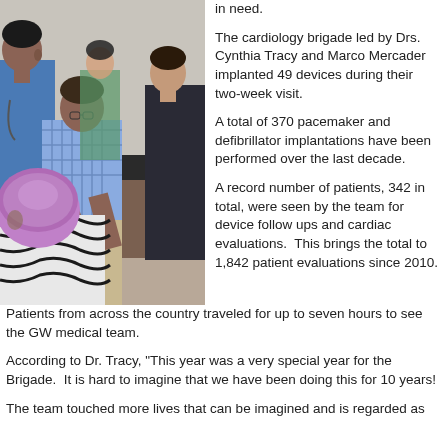[Figure (photo): Medical team in a clinical setting: a man in a checkered blue shirt leaning over a table, a woman in dark scrubs, a man in blue scrubs on the left, a woman in green scrubs in the background, and a patient with a purple head covering in the foreground.]
in need.
The cardiology brigade led by Drs. Cynthia Tracy and Marco Mercader implanted 49 devices during their two-week visit.
A total of 370 pacemaker and defibrillator implantations have been performed over the last decade.
A record number of patients, 342 in total, were seen by the team for device follow ups and cardiac evaluations. This brings the total to 1,842 patient evaluations since 2010.
Patients from across the country traveled for up to seven hours to see the GW medical team.
According to Dr. Tracy, "This year was a very special year for the Brigade. It is hard to imagine that we have been doing this for 10 years!
The team touched more lives that can be imagined and is regarded as